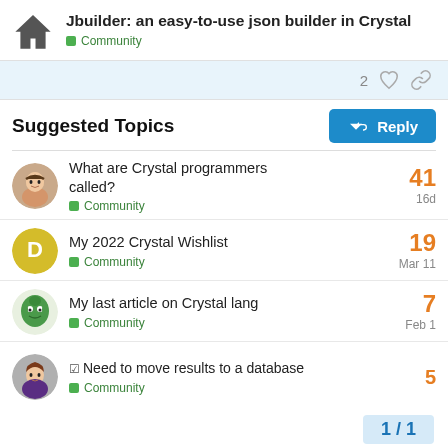Jbuilder: an easy-to-use json builder in Crystal — Community
2 likes, link icon
Reply button
Suggested Topics
What are Crystal programmers called? — Community — 16d — 41 replies
My 2022 Crystal Wishlist — Community — Mar 11 — 19 replies
My last article on Crystal lang — Community — Feb 1 — 7 replies
Need to move results to a database — Community — 5 replies
1 / 1